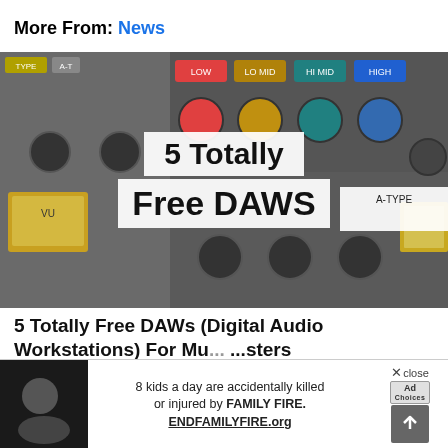More From: News
[Figure (photo): Audio mixing equipment / DAW plugins showing knobs, VU meters, equalizer controls with overlaid text reading '5 Totally Free DAWS']
5 Totally Free DAWs (Digital Audio Workstations) For Mu... ...sters
by Memenio Pan... 1 Marc 2016
[Figure (photo): Advertisement banner: person with child, text '8 kids a day are accidentally killed or injured by FAMILY FIRE. ENDFAMILYFIRE.org' with Ad label and scroll-up button, X close button]